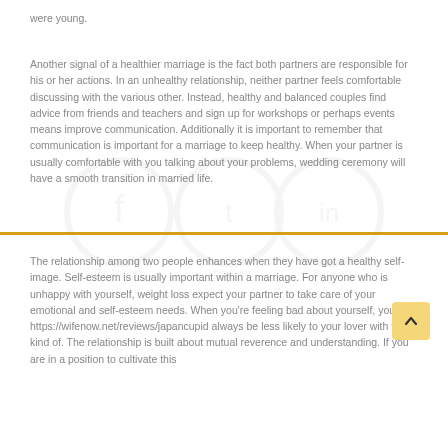were young.
Another signal of a healthier marriage is the fact both partners are responsible for his or her actions. In an unhealthy relationship, neither partner feels comfortable discussing with the various other. Instead, healthy and balanced couples find advice from friends and teachers and sign up for workshops or perhaps events means improve communication. Additionally it is important to remember that communication is important for a marriage to keep healthy. When your partner is usually comfortable with you talking about your problems, wedding ceremony will have a smooth transition in married life.
The relationship among two people enhances when they have got a healthy self-image. Self-esteem is usually important within a marriage. For anyone who is unhappy with yourself, weight loss expect your partner to take care of your emotional and self-esteem needs. When you're feeling bad about yourself, you will https://wifenow.net/reviews/japancupid always be less likely to your lover with this kind of. The relationship is built about mutual reverence and understanding. If you are in a position to cultivate this